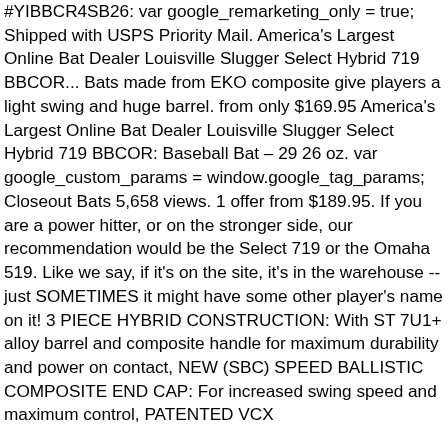#YIBBCR4SB26: var google_remarketing_only = true; Shipped with USPS Priority Mail. America's Largest Online Bat Dealer Louisville Slugger Select Hybrid 719 BBCOR... Bats made from EKO composite give players a light swing and huge barrel. from only $169.95 America's Largest Online Bat Dealer Louisville Slugger Select Hybrid 719 BBCOR: Baseball Bat - 29 26 oz. var google_custom_params = window.google_tag_params; Closeout Bats 5,658 views. 1 offer from $189.95. If you are a power hitter, or on the stronger side, our recommendation would be the Select 719 or the Omaha 519. Like we say, if it's on the site, it's in the warehouse -- just SOMETIMES it might have some other player's name on it! 3 PIECE HYBRID CONSTRUCTION: With ST 7U1+ alloy barrel and composite handle for maximum durability and power on contact, NEW (SBC) SPEED BALLISTIC COMPOSITE END CAP: For increased swing speed and maximum control, PATENTED VCX